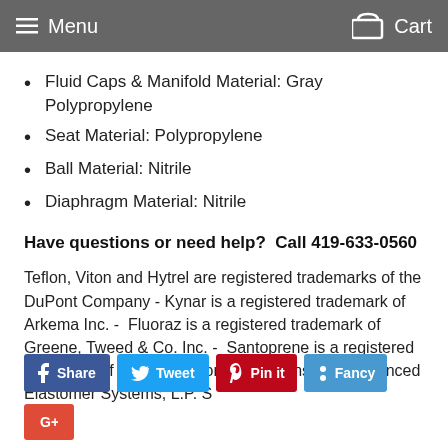Menu  Cart
Fluid Caps & Manifold Material: Gray Polypropylene
Seat Material: Polypropylene
Ball Material: Nitrile
Diaphragm Material: Nitrile
Have questions or need help?  Call 419-633-0560
Teflon, Viton and Hytrel are registered trademarks of the DuPont Company - Kynar is a registered trademark of Arkema Inc. -  Fluoraz is a registered trademark of Greene, Tweed & Co. Inc. -  Santoprene is a registered trademark of Monsanto Company, licensed to Advanced Elastomer Systems, L.P. S